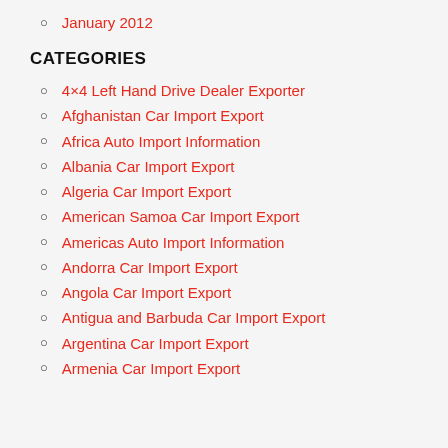January 2012
CATEGORIES
4×4 Left Hand Drive Dealer Exporter
Afghanistan Car Import Export
Africa Auto Import Information
Albania Car Import Export
Algeria Car Import Export
American Samoa Car Import Export
Americas Auto Import Information
Andorra Car Import Export
Angola Car Import Export
Antigua and Barbuda Car Import Export
Argentina Car Import Export
Armenia Car Import Export